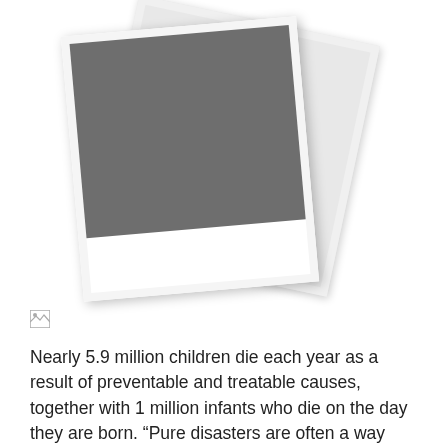[Figure (photo): Two overlapping polaroid-style photographs, one tilted clockwise and one tilted counterclockwise, with dark gray image areas. The front polaroid has a white border and a small white area at the bottom typical of polaroid frames.]
[Figure (photo): Broken image icon placeholder (small image that failed to load)]
Nearly 5.9 million children die each year as a result of preventable and treatable causes, together with 1 million infants who die on the day they are born. “Pure disasters are often a way that people that never had to rely on packages like Medicaid and CHIP need them for the